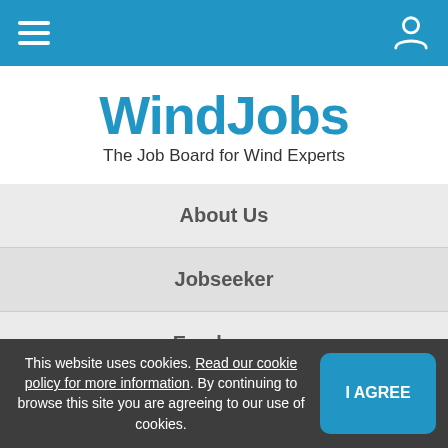WindJobs navigation bar with hamburger menu and user icon
WindJobs
The Job Board for Wind Experts
About Us
Jobseeker
Employers
This website uses cookies. Read our cookie policy for more information. By continuing to browse this site you are agreeing to our use of cookies.